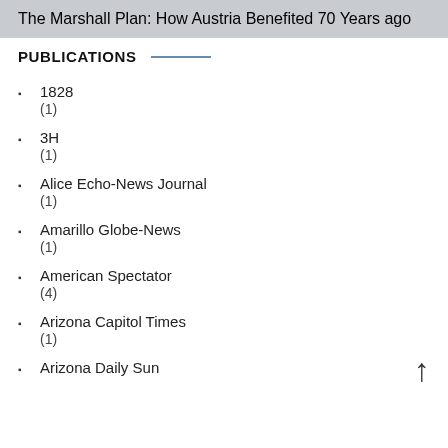The Marshall Plan: How Austria Benefited 70 Years ago
PUBLICATIONS
1828
(1)
3H
(1)
Alice Echo-News Journal
(1)
Amarillo Globe-News
(1)
American Spectator
(4)
Arizona Capitol Times
(1)
Arizona Daily Sun